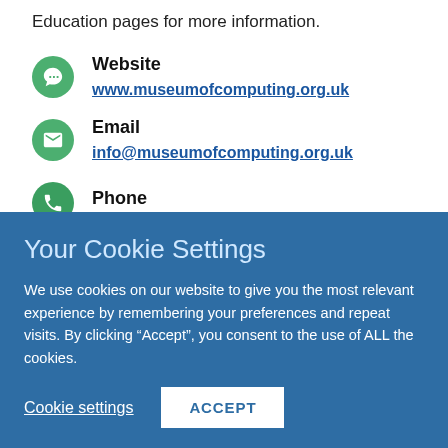Education pages for more information.
Website
www.museumofcomputing.org.uk
Email
info@museumofcomputing.org.uk
Phone
Your Cookie Settings
We use cookies on our website to give you the most relevant experience by remembering your preferences and repeat visits. By clicking “Accept”, you consent to the use of ALL the cookies.
Cookie settings  ACCEPT